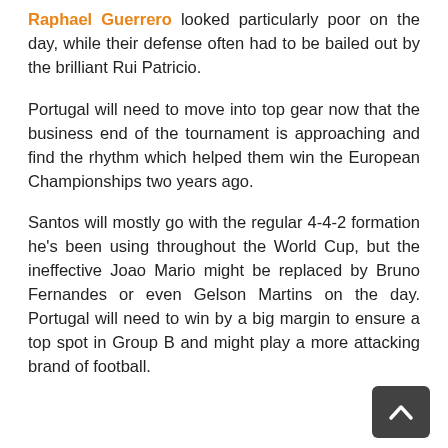Raphael Guerrero looked particularly poor on the day, while their defense often had to be bailed out by the brilliant Rui Patricio.
Portugal will need to move into top gear now that the business end of the tournament is approaching and find the rhythm which helped them win the European Championships two years ago.
Santos will mostly go with the regular 4-4-2 formation he's been using throughout the World Cup, but the ineffective Joao Mario might be replaced by Bruno Fernandes or even Gelson Martins on the day. Portugal will need to win by a big margin to ensure a top spot in Group B and might play a more attacking brand of football.